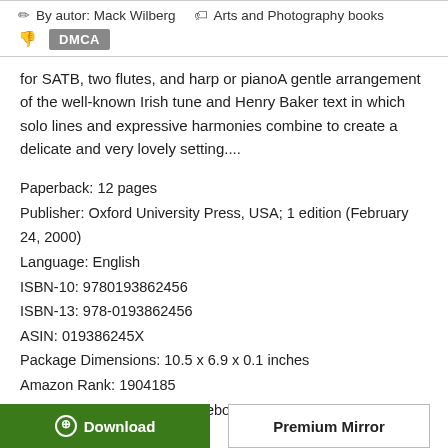By autor: Mack Wilberg
Arts and Photography books
DMCA
for SATB, two flutes, and harp or pianoA gentle arrangement of the well-known Irish tune and Henry Baker text in which solo lines and expressive harmonies combine to create a delicate and very lovely setting....
Paperback: 12 pages
Publisher: Oxford University Press, USA; 1 edition (February 24, 2000)
Language: English
ISBN-10: 9780193862456
ISBN-13: 978-0193862456
ASIN: 019386245X
Package Dimensions: 10.5 x 6.9 x 0.1 inches
Amazon Rank: 1904185
Format: PDF ePub Text djvu ebook
Download
Premium Mirror